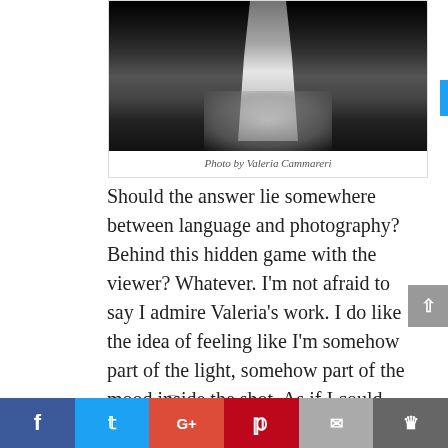[Figure (photo): Black and white photograph of a person's lower body/legs standing in a doorway or entrance with dramatic light coming through, by Valeria Cammareri]
Photo by Valeria Cammareri
Should the answer lie somewhere between language and photography? Behind this hidden game with the viewer? Whatever. I'm not afraid to say I admire Valeria's work. I do like the idea of feeling like I'm somehow part of the light, somehow part of the mood inside the shot. As if I could hear something coming out of it. Music,